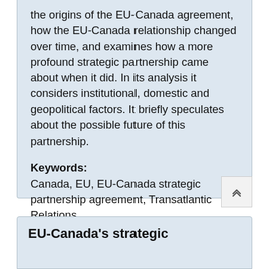the origins of the EU-Canada agreement, how the EU-Canada relationship changed over time, and examines how a more profound strategic partnership came about when it did. In its analysis it considers institutional, domestic and geopolitical factors. It briefly speculates about the possible future of this partnership.
Keywords:
Canada, EU, EU-Canada strategic partnership agreement, Transatlantic Relations
[Figure (other): Blue 'Download Article' button]
[Figure (other): Scroll-to-top button with upward chevron arrows]
EU-Canada's strategic